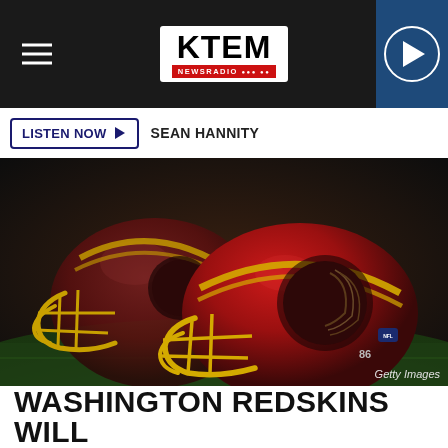KTEM NEWSRADIO
LISTEN NOW ▶  SEAN HANNITY
[Figure (photo): Two Washington Redskins NFL football helmets with burgundy and gold coloring, featuring the Native American logo, resting on a green turf field. Getty Images credit shown in lower right.]
WASHINGTON REDSKINS WILL